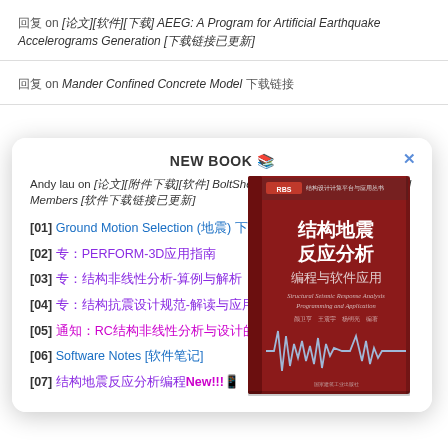回复 on [论文][软件][下载] AEEG: A Program for Artificial Earthquake Accelerograms Generation [下载链接已更新]
回复 on Mander Confined Concrete Model 下载链接
NEW BOOK 📚
Andy lau on [论文][附件下载][软件] BoltShear: Shear Bearing of Pin Bolted Members [软件下载链接已更新]
[01] Ground Motion Selection (地震) 下载
[02] 专：PERFORM-3D应用指南
[03] 专：结构非线性分析-算例与解析
[04] 专：结构抗震设计规范-解读与应用
[05] 通知：RC结构非线性分析与设计的若干问题讨论Ph.D. Paper
[06] Software Notes [软件笔记]
[07] 结构地震反应分析编程New!!!📱
[Figure (photo): Red book cover titled 结构地震反应分析 编程与软件应用 (Structural Seismic Response Analysis Programming and Application) with a seismic waveform graphic]